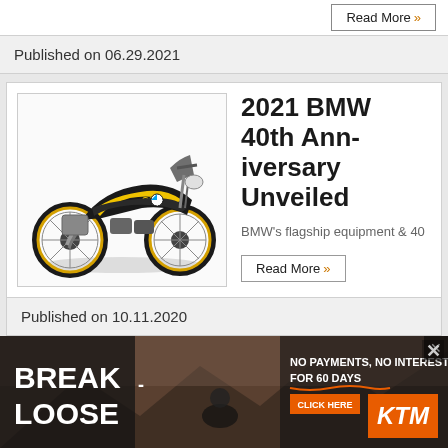Read More »
Published on 06.29.2021
[Figure (photo): 2021 BMW R 1250 GS adventure motorcycle in black and yellow 40th anniversary colors, side profile view]
2021 BMW 40th Anniversary Unveiled
BMW's flagship equipment & 40
Read More »
Published on 10.11.2020
[Figure (photo): KTM advertisement banner: BREAK LOOSE – No Payments, No Interest for 60 Days – KTM orange logo]